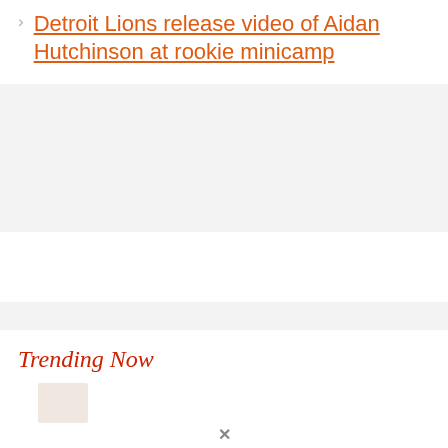Detroit Lions release video of Aidan Hutchinson at rookie minicamp
[Figure (other): Gray advertisement block (top)]
[Figure (other): Gray advertisement block (bottom)]
Trending Now
[Figure (photo): Small thumbnail image placeholder for trending item]